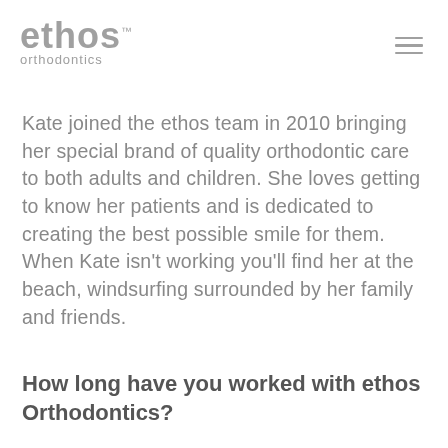ethos™ orthodontics
Kate joined the ethos team in 2010 bringing her special brand of quality orthodontic care to both adults and children. She loves getting to know her patients and is dedicated to creating the best possible smile for them. When Kate isn't working you'll find her at the beach, windsurfing surrounded by her family and friends.
How long have you worked with ethos Orthodontics?